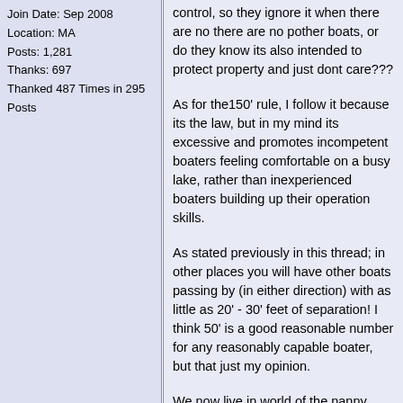Join Date: Sep 2008
Location: MA
Posts: 1,281
Thanks: 697
Thanked 487 Times in 295 Posts
control, so they ignore it when there are no there are no pother boats, or do they know its also intended to protect property and just dont care???
As for the150' rule, I follow it because its the law, but in my mind its excessive and promotes incompetent boaters feeling comfortable on a busy lake, rather than inexperienced boaters building up their operation skills.
As stated previously in this thread; in other places you will have other boats passing by (in either direction) with as little as 20' - 30' feet of separation! I think 50' is a good reasonable number for any reasonably capable boater, but that just my opinion.
We now live in world of the nanny state of adjust and regulate to lowest possible